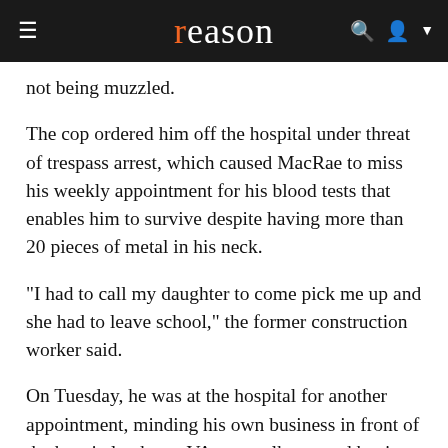reason
not being muzzled.
The cop ordered him off the hospital under threat of trespass arrest, which caused MacRae to miss his weekly appointment for his blood tests that enables him to survive despite having more than 20 pieces of metal in his neck.
"I had to call my daughter to come pick me up and she had to leave school," the former construction worker said.
On Tuesday, he was at the hospital for another appointment, minding his own business in front of the hospital, when a VA cop walks up and begins hassling him about his dog.
Unlike the two prior incidents, MacRae began recording